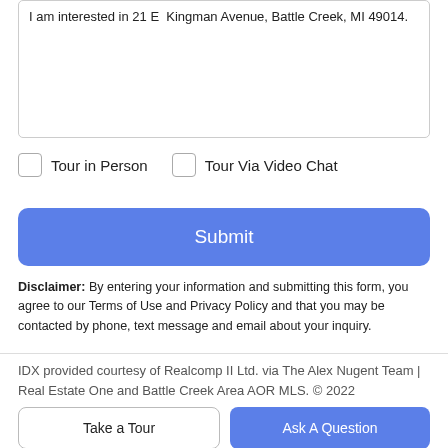I am interested in 21 E  Kingman Avenue, Battle Creek, MI 49014.
Tour in Person
Tour Via Video Chat
Submit
Disclaimer: By entering your information and submitting this form, you agree to our Terms of Use and Privacy Policy and that you may be contacted by phone, text message and email about your inquiry.
IDX provided courtesy of Realcomp II Ltd. via The Alex Nugent Team | Real Estate One and Battle Creek Area AOR MLS. © 2022
Take a Tour
Ask A Question